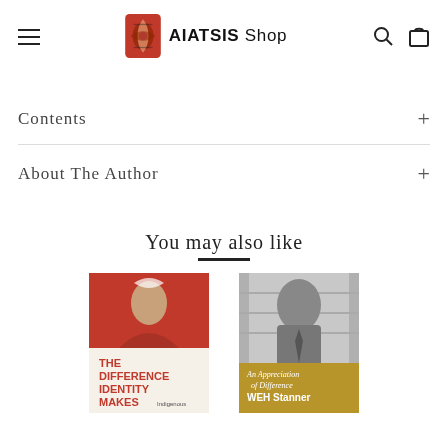AIATSIS Shop
Contents +
About The Author +
You may also like
[Figure (photo): Book cover: The Difference Identity Makes]
[Figure (photo): Book cover: An Appreciation of Difference - WEH Stanner]